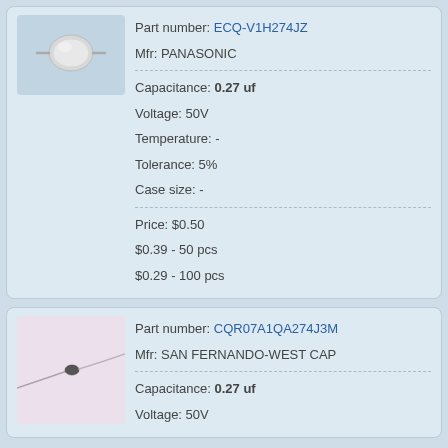[Figure (photo): Photo of a Panasonic ECQ-V1H274JZ film capacitor against a light blue background]
Part number: ECQ-V1H274JZ
Mfr: PANASONIC
Capacitance: 0.27 uf
Voltage: 50V
Temperature: -
Tolerance: 5%
Case size: -
Price: $0.50
$0.39 - 50 pcs
$0.29 - 100 pcs
[Figure (photo): Photo of a CQR07A1QA274J3M capacitor with long thin leads against a light pink/white background]
Part number: CQR07A1QA274J3M
Mfr: SAN FERNANDO-WEST CAP
Capacitance: 0.27 uf
Voltage: 50V